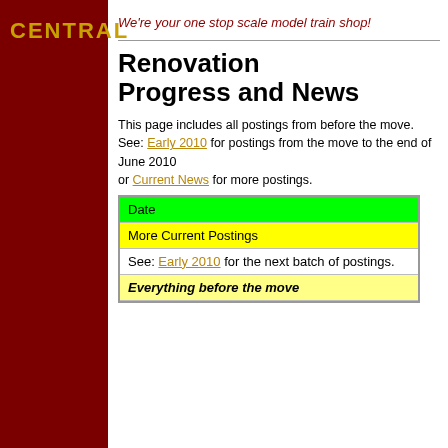[Figure (logo): Dark red sidebar with 'CENTRAL' text in gold uppercase bold letters]
We're your one stop scale model train shop!
Renovation Progress and News
This page includes all postings from before the move. See: Early 2010 for postings from the move to the end of June 2010
or Current News for more postings.
| Date |
| --- |
| More Current Postings |
| See: Early 2010 for the next batch of postings. |
| Everything before the move |